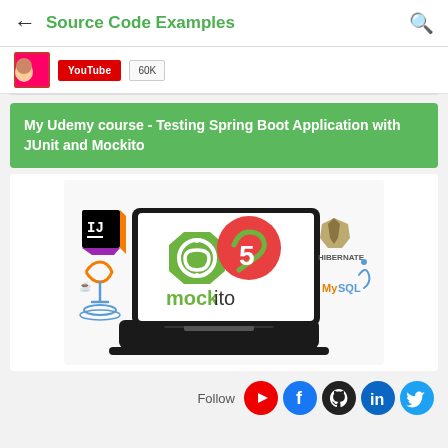Source Code Examples
[Figure (screenshot): YouTube subscribe strip with avatar, YouTube subscribe button, and subscriber count partially visible]
My Udemy course - Testing Spring Boot Application with JUnit and Mockito
[Figure (illustration): Course thumbnail showing a laptop with Spring Boot, JUnit 5, and Mockito logos along with IntelliJ IDEA, Java, Hibernate, and MySQL logos]
Follow